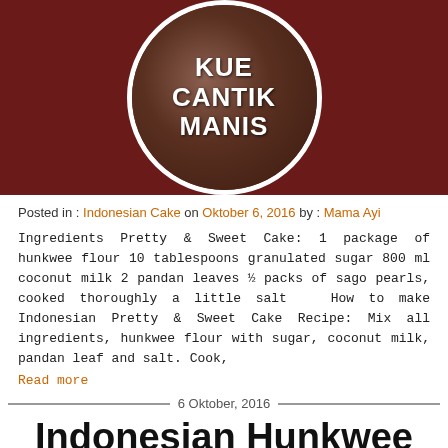[Figure (photo): Circular photo of an Indonesian cake dish with white text overlay reading KUE CANTIK MANIS on a dark reddish-brown background]
Posted in : Indonesian Cake on Oktober 6, 2016 by : Mama Ayi
Ingredients Pretty & Sweet Cake: 1 package of hunkwee flour 10 tablespoons granulated sugar 800 ml coconut milk 2 pandan leaves ½ packs of sago pearls, cooked thoroughly a little salt   How to make Indonesian Pretty & Sweet Cake Recipe: Mix all ingredients, hunkwee flour with sugar, coconut milk, pandan leaf and salt. Cook,
Read more
6 Oktober, 2016
Indonesian Hunkwee Cake Recipe